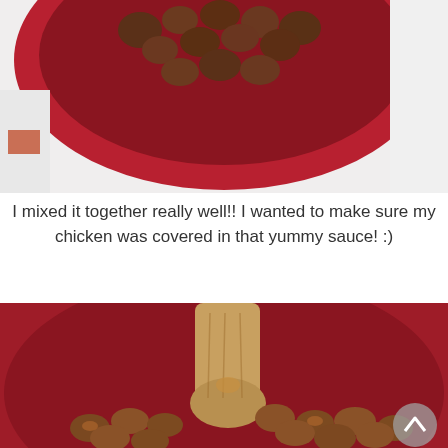[Figure (photo): Top portion of a red bowl containing pieces of chicken coated in sauce, viewed from above on a white surface.]
I mixed it together really well!! I wanted to make sure my chicken was covered in that yummy sauce! :)
[Figure (photo): Close-up of a red bowl with a wooden spoon mixing saucy glazed chicken pieces inside the bowl. A scroll-to-top button is visible in the bottom right corner.]